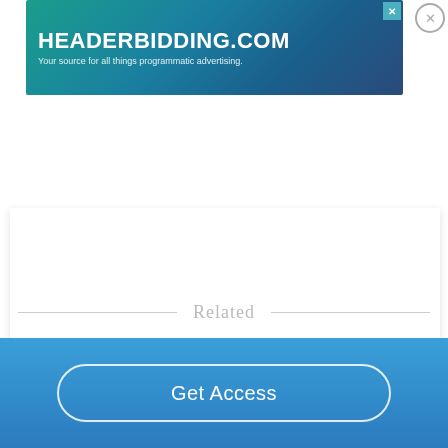[Figure (screenshot): Advertisement banner for headerbidding.com with teal/blue gradient background. Title reads HEADERBIDDING.COM with subtitle 'Your source for all things programmatic advertising.']
[Figure (screenshot): White content card area, partially visible, empty white space]
Related
Good Essays
The Symbolism Of The Dog In Homer's Odyssey
Get Access